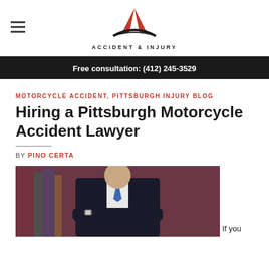ACCIDENT & INJURY
Free consultation: (412) 245-3529
MOTORCYCLE ACCIDENT, PITTSBURGH INJURY BLOG
Hiring a Pittsburgh Motorcycle Accident Lawyer
BY PINO CERTA
[Figure (photo): Professional lawyer in dark suit with arms crossed, standing in front of a blurred bookshelf background]
If you